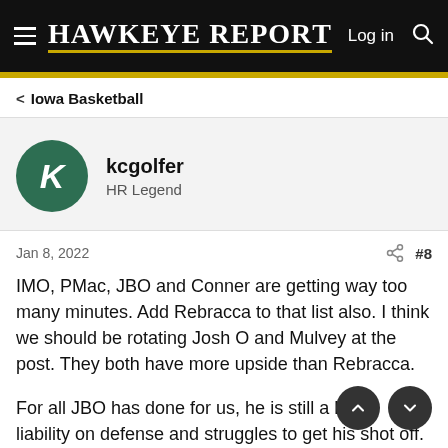Hawkeye Report — Log in
Iowa Basketball
kcgolfer
HR Legend
Jan 8, 2022  #8
IMO, PMac, JBO and Conner are getting way too many minutes. Add Rebracca to that list also. I think we should be rotating Josh O and Mulvey at the post. They both have more upside than Rebracca.

For all JBO has done for us, he is still a huge liability on defense and struggles to get his shot off. PMac thinks he’s still in high school and can drive on anyone, resulting in a—